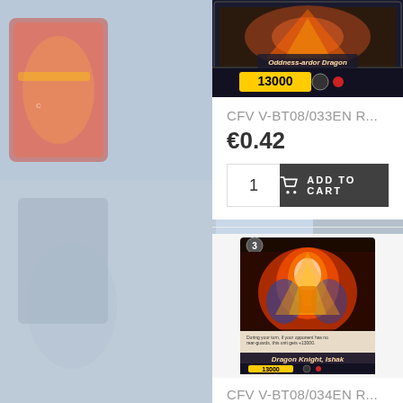[Figure (photo): Background decorative image on the left side showing blurred anime/card game artwork]
[Figure (photo): Background decorative image on the right side showing blurred anime/card game artwork]
[Figure (photo): Top portion of a Cardfight Vanguard trading card showing 'Oddness-ardor Dragon' with power 13000]
CFV V-BT08/033EN R...
€0.42
1
ADD TO CART
[Figure (photo): Cardfight Vanguard trading card showing 'Dragon Knight, Ishak' - Grade 3 card with power 13000, featuring a character engulfed in flames]
CFV V-BT08/034EN R...